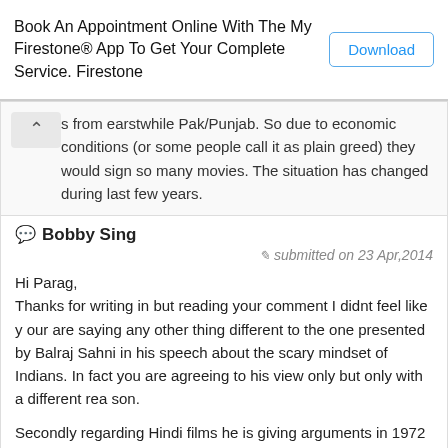Book An Appointment Online With The My Firestone® App To Get Your Complete Service. Firestone
s from earstwhile Pak/Punjab. So due to economic conditions (or some people call it as plain greed) they would sign so many movies. The situation has changed during last few years.
Bobby Sing
submitted on 23 Apr,2014
Hi Parag,
Thanks for writing in but reading your comment I didnt feel like your are saying any other thing different to the one presented by Balraj Sahni in his speech about the scary mindset of Indians. In fact you are agreeing to his view only but only with a different reason.

Secondly regarding Hindi films he is giving arguments in 1972 looking at the film made till date and yes there were mostly refugees/migrants from other places coming into the film-world with a lot of insecurity in mind.
And if you can read the autobiography of Balraj Sahni, link of which is also shared in another article at the site then you will get fee